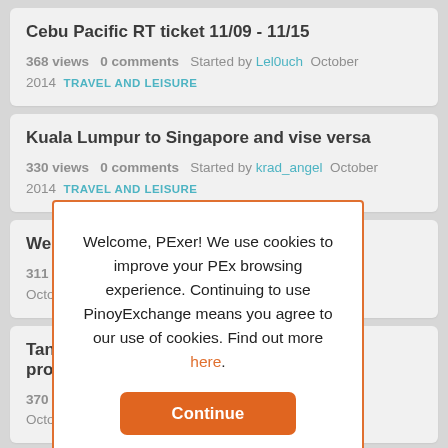Cebu Pacific RT ticket 11/09 - 11/15
368 views   0 comments   Started by Lel0uch   October 2014   TRAVEL AND LEISURE
Kuala Lumpur to Singapore and vise versa
330 views   0 comments   Started by krad_angel   October 2014   TRAVEL AND LEISURE
We're Hiring ... Party Host)
311 views   ...PH   October 2014
Tanong po s... od (town proper)
370 views   ...nCersei   October 2014
Welcome, PExer! We use cookies to improve your PEx browsing experience. Continuing to use PinoyExchange means you agree to our use of cookies. Find out more here.
Continue